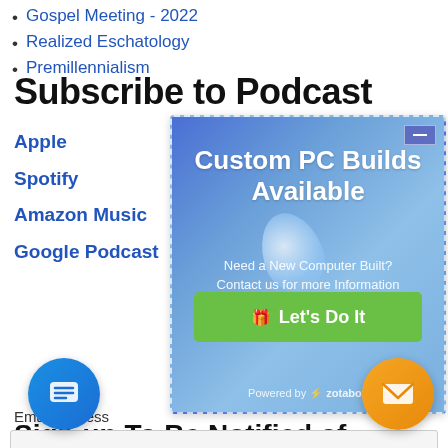Gospel Meeting - 2022
Realized Eschatology
Premillennialism
Subscribe to Podcast
Apple
Spotify
Amazon Music
Google Podcast
[Figure (infographic): Advertisement overlay: 'Custom PC Builds Available - Need a New Computer Built? Contact us for more Information' with a green 'Let's Do It' button. Powered by zotabox.]
Sign up To Be Notified of New Content
Email address